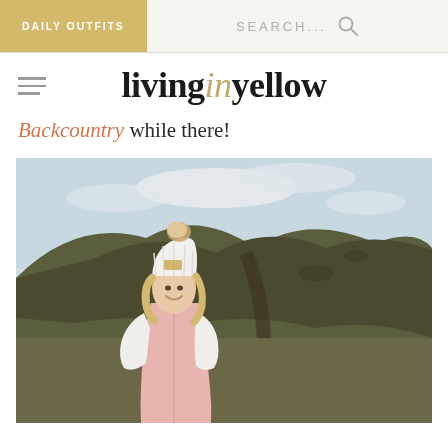DAILY OUTFITS   SEARCH...
livinginyellow
Backcountry while there!
[Figure (photo): Woman wearing a white knit pom-pom beanie hat and a light pink puffer vest over a white fleece, smiling, standing outdoors on rocky volcanic hills with a path/trail visible behind her, overcast sky with some blue patches.]